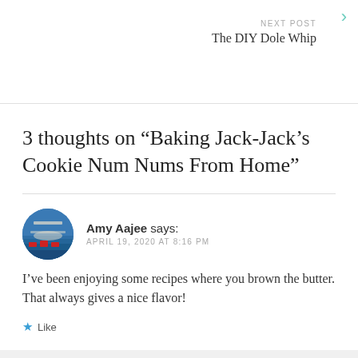NEXT POST
The DIY Dole Whip
3 thoughts on “Baking Jack-Jack’s Cookie Num Nums From Home”
Amy Aajee says:
APRIL 19, 2020 AT 8:16 PM
I’ve been enjoying some recipes where you brown the butter. That always gives a nice flavor!
Like